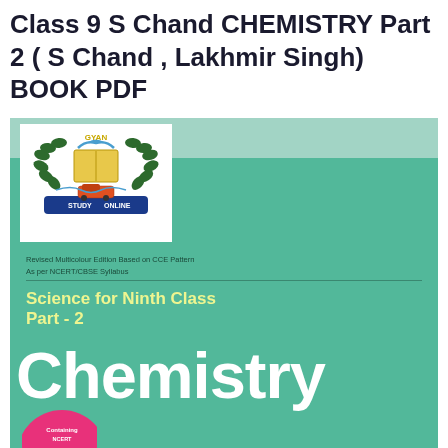Class 9 S Chand CHEMISTRY Part 2 ( S Chand , Lakhmir Singh) BOOK PDF
[Figure (photo): Book cover of 'Science for Ninth Class Part-2 Chemistry' by S Chand / Lakhmir Singh. The cover has a teal/green background with a white logo box showing the 'GYAN STUDY ONLINE' emblem (laurel wreath with open book and bird). Text on cover: 'Revised Multicolour Edition Based on CCE Pattern, As per NCERT/CBSE Syllabus', 'Science for Ninth Class Part - 2', 'Chemistry' in large white letters. A circular badge at the bottom reads 'Containing NCERT' details.]